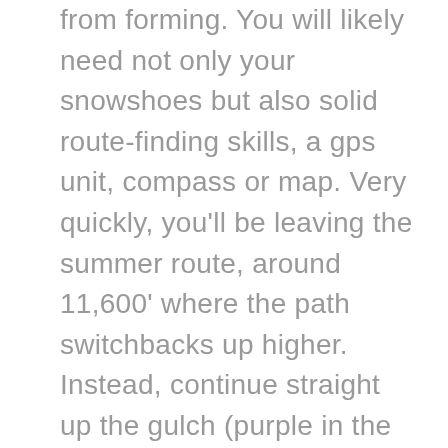from forming. You will likely need not only your snowshoes but also solid route-finding skills, a gps unit, compass or map. Very quickly, you'll be leaving the summer route, around 11,600' where the path switchbacks up higher. Instead, continue straight up the gulch (purple in the map) to avoid avalanche risk from Kelso Mountain above you. This path has killed before – be sure you know how to take this variation. Meet back up with the standard route around 12,200'.